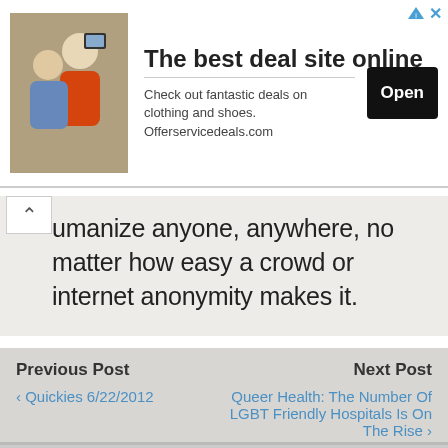[Figure (infographic): Advertisement banner: photo of people taking a selfie on left, bold text 'The best deal site online' in center with description 'Check out fantastic deals on clothing and shoes. Offerservicedeals.com', black 'Open' button on right]
...umanize anyone, anywhere, no matter how easy a crowd or internet anonymity makes it.
Previous Post
‹ Quickies 6/22/2012
Next Post
Queer Health: The Number Of LGBT Friendly Hospitals Is On The Rise ›
8 responses
delictuscoeli
June 24, 2012